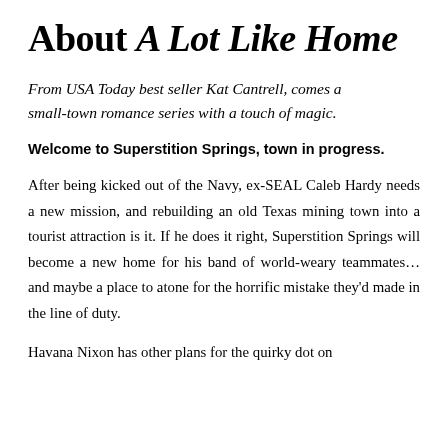About A Lot Like Home
From USA Today best seller Kat Cantrell, comes a small-town romance series with a touch of magic.
Welcome to Superstition Springs, town in progress.
After being kicked out of the Navy, ex-SEAL Caleb Hardy needs a new mission, and rebuilding an old Texas mining town into a tourist attraction is it. If he does it right, Superstition Springs will become a new home for his band of world-weary teammates… and maybe a place to atone for the horrific mistake they'd made in the line of duty.
Havana Nixon has other plans for the quirky dot on